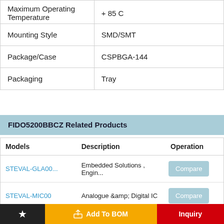|  |  |
| --- | --- |
| Maximum Operating Temperature | + 85 C |
| Mounting Style | SMD/SMT |
| Package/Case | CSPBGA-144 |
| Packaging | Tray |
FIDO5200BBCZ Related Products
| Models | Description | Operation |
| --- | --- | --- |
| STEVAL-GLA00... | Embedded Solutions , Engin... | Compare |
| STEVAL-MIC00 | Analogue &amp; Digital IC | Compare |
★  Add To BOM  Inquiry